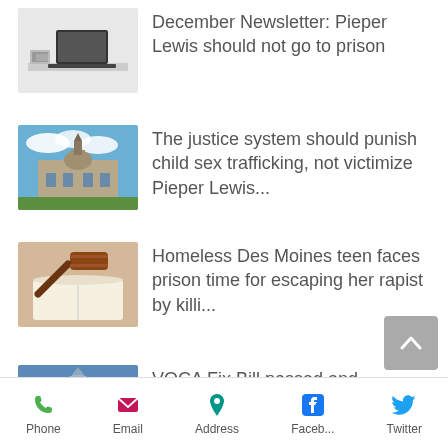December Newsletter: Pieper Lewis should not go to prison
The justice system should punish child sex trafficking, not victimize Pieper Lewis...
Homeless Des Moines teen faces prison time for escaping her rapist by killi...
VOCA Fix Bill passed and
Phone  Email  Address  Faceb...  Twitter